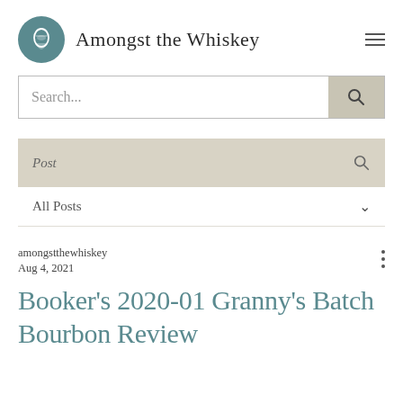Amongst the Whiskey
Search...
Post
All Posts
amongstthewhiskey
Aug 4, 2021
Booker's 2020-01 Granny's Batch Bourbon Review